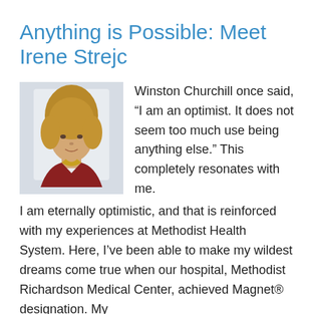Anything is Possible: Meet Irene Strejc
[Figure (photo): Portrait photo of Irene Strejc, a woman with short blonde-brown hair wearing a dark red jacket and yellow scarf, against a light background.]
Winston Churchill once said, “I am an optimist. It does not seem too much use being anything else.” This completely resonates with me. I am eternally optimistic, and that is reinforced with my experiences at Methodist Health System. Here, I’ve been able to make my wildest dreams come true when our hospital, Methodist Richardson Medical Center, achieved Magnet® designation. My ...